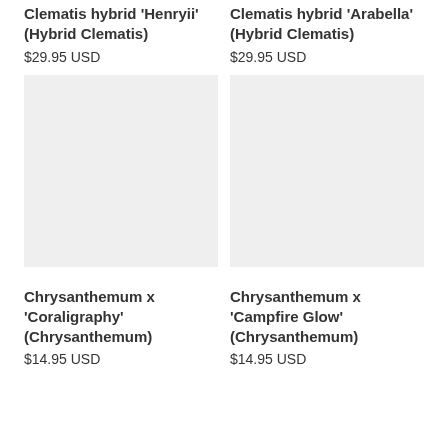Clematis hybrid 'Henryii' (Hybrid Clematis)
$29.95 USD
Clematis hybrid 'Arabella' (Hybrid Clematis)
$29.95 USD
[Figure (photo): Product image placeholder for Chrysanthemum x 'Coraligraphy' (light gray rectangle)]
[Figure (photo): Product image placeholder for Chrysanthemum x 'Campfire Glow' (light gray rectangle)]
Chrysanthemum x 'Coraligraphy' (Chrysanthemum)
$14.95 USD
Chrysanthemum x 'Campfire Glow' (Chrysanthemum)
$14.95 USD